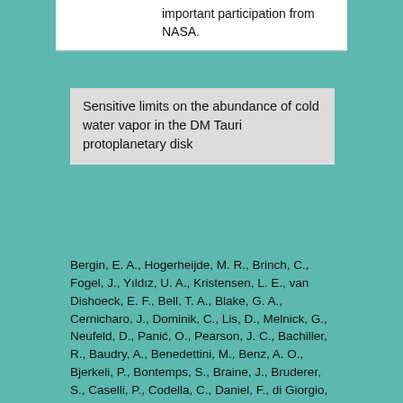important participation from NASA.
Sensitive limits on the abundance of cold water vapor in the DM Tauri protoplanetary disk
Bergin, E. A., Hogerheijde, M. R., Brinch, C., Fogel, J., Yıldız, U. A., Kristensen, L. E., van Dishoeck, E. F., Bell, T. A., Blake, G. A., Cernicharo, J., Dominik, C., Lis, D., Melnick, G., Neufeld, D., Panić, O., Pearson, J. C., Bachiller, R., Baudry, A., Benedettini, M., Benz, A. O., Bjerkeli, P., Bontemps, S., Braine, J., Bruderer, S., Caselli, P., Codella, C., Daniel, F., di Giorgio, A. M., Doty, S. D., Encrenaz, P., Fich, M., Fuente, A.,